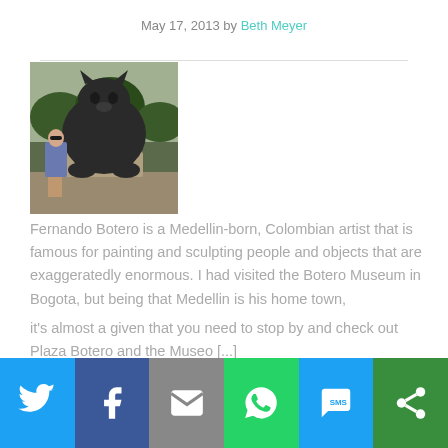May 17, 2013 by Beth Meyer
[Figure (photo): Woman posing next to a large Botero cat sculpture outdoors in Medellin, Colombia]
Fernando Botero is a Medellin-born, Colombian artist that is famous for painting and sculpting people and objects that are exaggeratedly enormous. I had visited the Botero Museum in Bogota, but being that Medellin is his home town, it's almost a given that you need to stop by and check out Plaza Botero and the Museo [...]
[Figure (infographic): Social sharing bar with Twitter, Facebook, Email, WhatsApp, SMS, and More buttons]